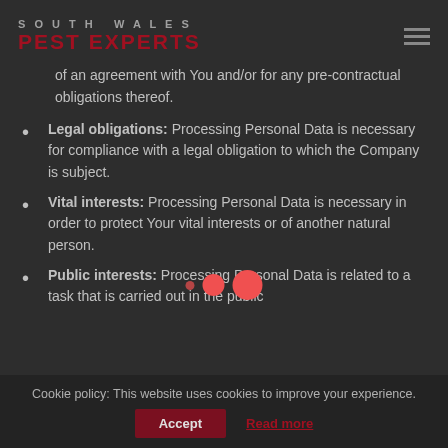SOUTH WALES PEST EXPERTS
of an agreement with You and/or for any pre-contractual obligations thereof.
Legal obligations: Processing Personal Data is necessary for compliance with a legal obligation to which the Company is subject.
Vital interests: Processing Personal Data is necessary in order to protect Your vital interests or of another natural person.
Public interests: Processing Personal Data is related to a task that is carried out in the public
Cookie policy: This website uses cookies to improve your experience. Accept Read more